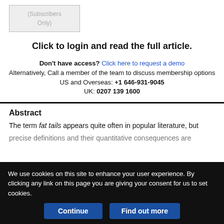[Figure (other): Subscribers Only placeholder box]
Click to login and read the full article.
Don't have access? Click here to request a demo
Alternatively, Call a member of the team to discuss membership options
US and Overseas: +1 646-931-9045
UK: 0207 139 1600
Abstract
The term fat tails appears quite often in popular literature, but precise definitions and their quantitative consequences are
We use cookies on this site to enhance your user experience. By clicking any link on this page you are giving your consent for us to set cookies.